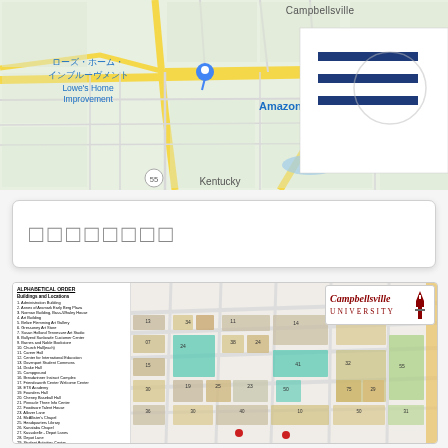[Figure (map): Google Maps screenshot showing area around Campbellsville, Kentucky with markers for Lowe's Home Improvement (Japanese: ローズ・ホーム・インブルーヴメント), Dollar General (Japanese: 100円ショップ), Amazon SDF1, Wings Pizza N Things, and route markers for highways 55, 70, 372. A hamburger menu icon is visible in top-right corner.]
[Figure (other): Search input box with Japanese placeholder characters (rectangles representing unrendered glyphs)]
[Figure (map): Campbellsville University campus map with legend on left side listing buildings and locations in alphabetical order, dining locations, facilities and parking. Campbellsville University logo in top right. Campus map showing building footprints, streets, green areas.]